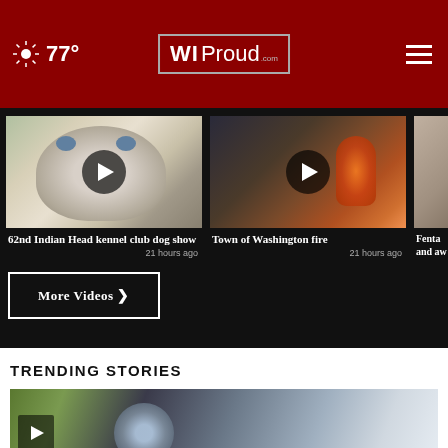WI Proud – 77° weather, navigation header
[Figure (screenshot): Video thumbnail: husky dog close-up with play button overlay]
62nd Indian Head kennel club dog show
21 hours ago
[Figure (screenshot): Video thumbnail: Town of Washington fire with play button overlay]
Town of Washington fire
21 hours ago
[Figure (screenshot): Partial video thumbnail: third story (Fenta... and aw...)]
More Videos ›
TRENDING STORIES
[Figure (screenshot): Trending story image: husky dog close-up with play button overlay, partially visible]